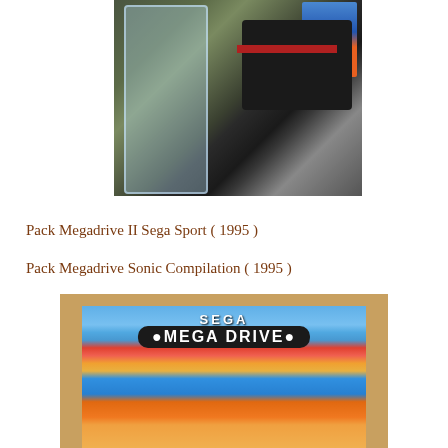[Figure (photo): Photo of a Sega Megadrive console and accessories including an acrylic case/stand, game cartridges, and gaming hardware arranged on a surface]
Pack Megadrive II Sega Sport ( 1995 )
Pack Megadrive Sonic Compilation ( 1995 )
[Figure (photo): Photo of a Sega Mega Drive game box showing Sonic the Hedgehog and Tails on colorful artwork, partially inside a cardboard shipping box]